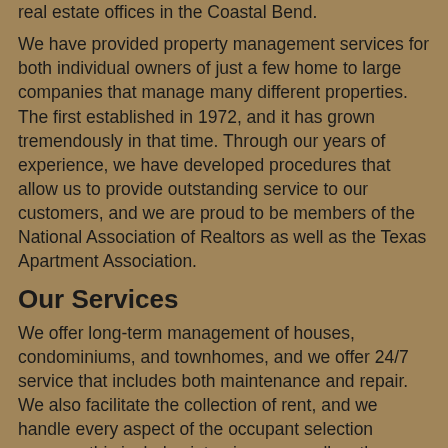real estate offices in the Coastal Bend.
We have provided property management services for both individual owners of just a few home to large companies that manage many different properties. The first established in 1972, and it has grown tremendously in that time. Through our years of experience, we have developed procedures that allow us to provide outstanding service to our customers, and we are proud to be members of the National Association of Realtors as well as the Texas Apartment Association.
Our Services
We offer long-term management of houses, condominiums, and townhomes, and we offer 24/7 service that includes both maintenance and repair. We also facilitate the collection of rent, and we handle every aspect of the occupant selection process; this includes interviews, as well as the investigation of rental history and credit. We do not, however, manage short-term rentals (i.e. less than six months).
In addition to managing rental properties, we can